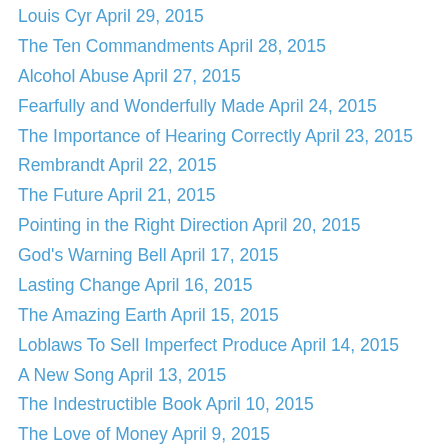Louis Cyr April 29, 2015
The Ten Commandments April 28, 2015
Alcohol Abuse April 27, 2015
Fearfully and Wonderfully Made April 24, 2015
The Importance of Hearing Correctly April 23, 2015
Rembrandt April 22, 2015
The Future April 21, 2015
Pointing in the Right Direction April 20, 2015
God's Warning Bell April 17, 2015
Lasting Change April 16, 2015
The Amazing Earth April 15, 2015
Loblaws To Sell Imperfect Produce April 14, 2015
A New Song April 13, 2015
The Indestructible Book April 10, 2015
The Love of Money April 9, 2015
Bullying April 8, 2015